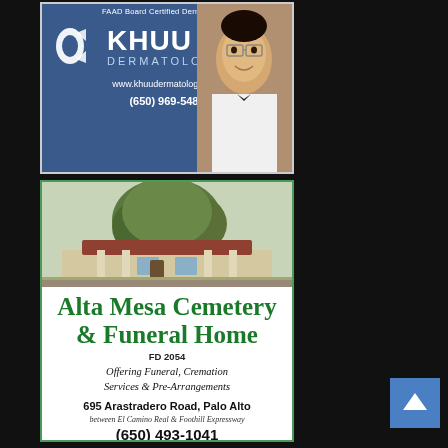[Figure (advertisement): Khuu Dermatology advertisement with logo, doctor photo, website and phone number on blue background. FAAD Board Certified Dermatologist. www.khuudermatology.com (650) 969-5488]
[Figure (advertisement): Alta Mesa Cemetery & Funeral Home advertisement. Photo of building with large tree. FD 2054. Offering Funeral, Cremation Services & Pre-Arrangements. 695 Arastradero Road, Palo Alto. between El Camino Real & Foothill Expressway. (650) 493-1041]